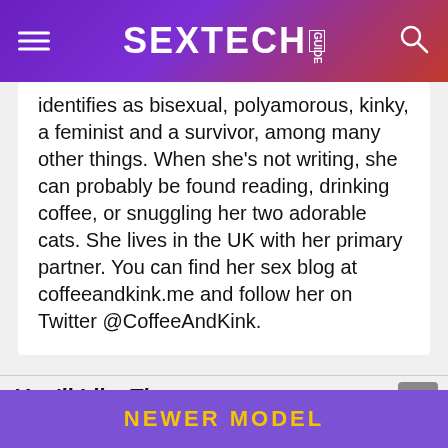SEXTECH GUIDE
identifies as bisexual, polyamorous, kinky, a feminist and a survivor, among many other things. When she's not writing, she can probably be found reading, drinking coffee, or snuggling her two adorable cats. She lives in the UK with her primary partner. You can find her sex blog at coffeeandkink.me and follow her on Twitter @CoffeeAndKink.
You'll Like These
[Figure (photo): Thumbnail image for related article, left]
[Figure (photo): Thumbnail image for related article, right]
NEWER MODEL